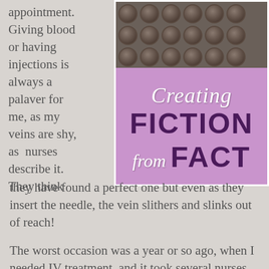appointment. Giving blood or having injections is always a palaver for me, as my veins are shy, as nurses describe it. They think they have found a perfect one but even as they insert the needle, the vein slithers and slinks out of reach!
[Figure (illustration): Book cover image showing dark glass bottles from above in the top half, and a purple/lavender background in the bottom half with white italic text 'Creating' and bold dark purple text 'FICTION from FACT']
The worst occasion was a year or so ago, when I needed IV treatment, and it took several nurses and seven attempts to get a canula in.